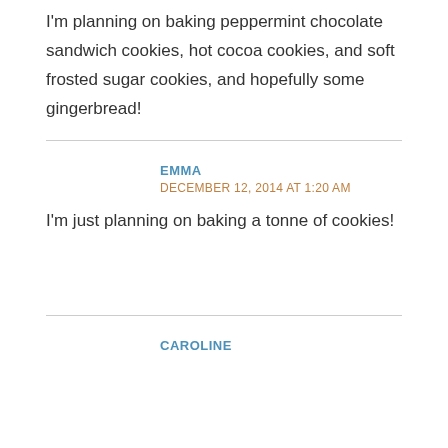I'm planning on baking peppermint chocolate sandwich cookies, hot cocoa cookies, and soft frosted sugar cookies, and hopefully some gingerbread!
EMMA
DECEMBER 12, 2014 AT 1:20 AM
I'm just planning on baking a tonne of cookies!
CAROLINE